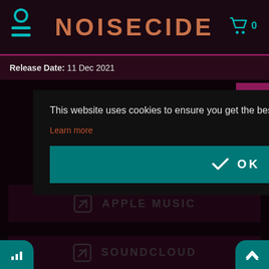NOISECIDE
Release Date: 11 Dec 2021
This website uses cookies to ensure you get the best experience on our website.
Learn more
✓ OK
[Figure (screenshot): Apple Music external link button with icon]
[Figure (screenshot): SoundCloud external link button with icon]